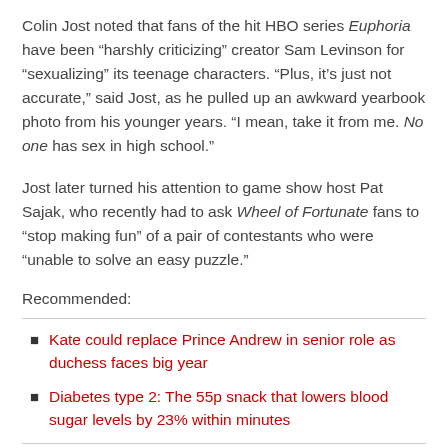Colin Jost noted that fans of the hit HBO series Euphoria have been “harshly criticizing” creator Sam Levinson for “sexualizing” its teenage characters. “Plus, it’s just not accurate,” said Jost, as he pulled up an awkward yearbook photo from his younger years. “I mean, take it from me. No one has sex in high school.”
Jost later turned his attention to game show host Pat Sajak, who recently had to ask Wheel of Fortunate fans to “stop making fun” of a pair of contestants who were “unable to solve an easy puzzle.”
Recommended:
Kate could replace Prince Andrew in senior role as duchess faces big year
Diabetes type 2: The 55p snack that lowers blood sugar levels by 23% within minutes